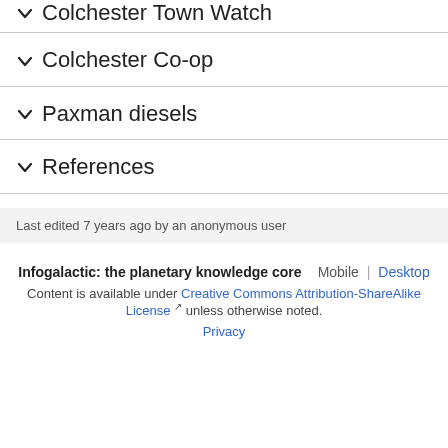Colchester Town Watch
Colchester Co-op
Paxman diesels
References
Last edited 7 years ago by an anonymous user
Infogalactic: the planetary knowledge core   Mobile | Desktop
Content is available under Creative Commons Attribution-ShareAlike License unless otherwise noted.
Privacy